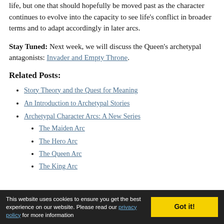life, but one that should hopefully be moved past as the character continues to evolve into the capacity to see life's conflict in broader terms and to adapt accordingly in later arcs.
Stay Tuned: Next week, we will discuss the Queen's archetypal antagonists: Invader and Empty Throne.
Related Posts:
Story Theory and the Quest for Meaning
An Introduction to Archetypal Stories
Archetypal Character Arcs: A New Series
The Maiden Arc
The Hero Arc
The Queen Arc
The King Arc
This website uses cookies to ensure you get the best experience on our website. Please read our privacy policy for more information   Got it!